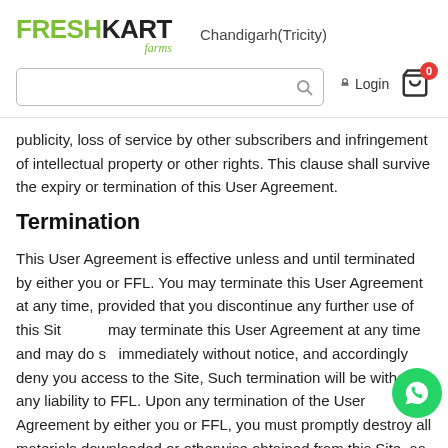FRESHKART farms — Chandigarh(Tricity)
publicity, loss of service by other subscribers and infringement of intellectual property or other rights. This clause shall survive the expiry or termination of this User Agreement.
Termination
This User Agreement is effective unless and until terminated by either you or FFL. You may terminate this User Agreement at any time, provided that you discontinue any further use of this Site. FFL may terminate this User Agreement at any time and may do so immediately without notice, and accordingly deny you access to the Site, Such termination will be without any liability to FFL. Upon any termination of the User Agreement by either you or FFL, you must promptly destroy all materials downloaded or otherwise obtained from this Site, as well as all copies of such materials, whether